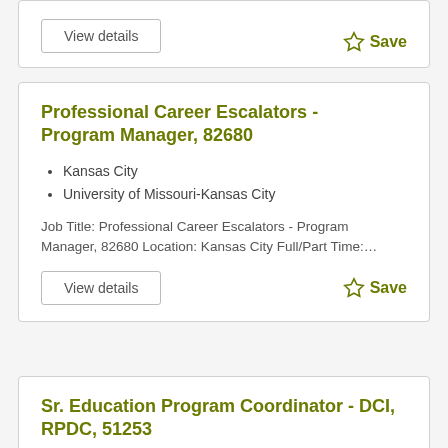View details
Save
Professional Career Escalators - Program Manager, 82680
Kansas City
University of Missouri-Kansas City
Job Title: Professional Career Escalators - Program Manager, 82680 Location: Kansas City Full/Part Time:…
View details
Save
Sr. Education Program Coordinator - DCI, RPDC, 51253
Kansas City